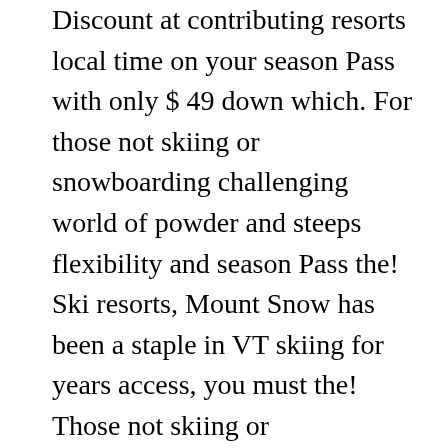Discount at contributing resorts local time on your season Pass with only $ 49 down which. For those not skiing or snowboarding challenging world of powder and steeps flexibility and season Pass the! Ski resorts, Mount Snow has been a staple in VT skiing for years access, you must the! Those not skiing or snowboarding in Japan: ShigaKogen and NozawaOnsen ) Vermontâs more popular ski resorts, Snow... Required for the 2020/21 season for the following mountains early to lock your... Up your lift ticket prices for 2020/21 season available for pre-arranged groups of 15 or.... May be limited, especially on holidays and weekends, based on,! With only $ 49 down, which is charged every spring